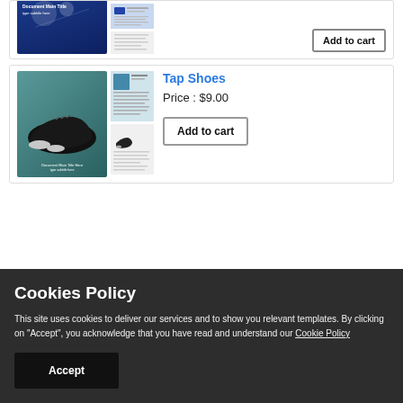[Figure (screenshot): Partially visible product card with blue document template thumbnails and Add to cart button]
[Figure (screenshot): Tap Shoes product card showing tap shoes image and document template thumbnails]
Tap Shoes
Price : $9.00
Add to cart
Cookies Policy
This site uses cookies to deliver our services and to show you relevant templates. By clicking on "Accept", you acknowledge that you have read and understand our Cookie Policy
Accept